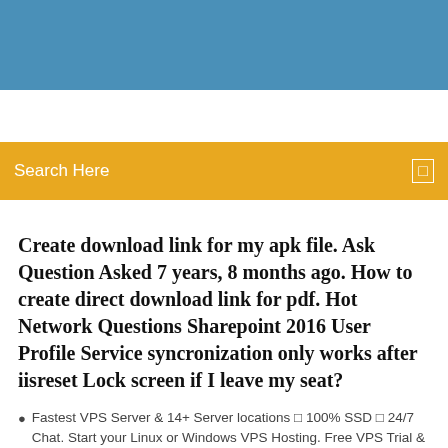[Figure (screenshot): Blue header banner at top of webpage]
Search Here
Create download link for my apk file. Ask Question Asked 7 years, 8 months ago. How to create direct download link for pdf. Hot Network Questions Sharepoint 2016 User Profile Service syncronization only works after iisreset Lock screen if I leave my seat?
Fastest VPS Server & 14+ Server locations ▪ 100% SSD ▪ 24/7 Chat. Start your Linux or Windows VPS Hosting. Free VPS Trial & Up to $250 bonus now!   |
8 Comments